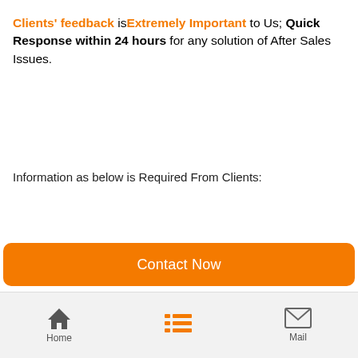Clients' feedback is Extremely Important to Us; Quick Response within 24 hours for any solution of After Sales Issues.
Information as below is Required From Clients:
1.  Transportation Issue
Contact Now
Home   Mail